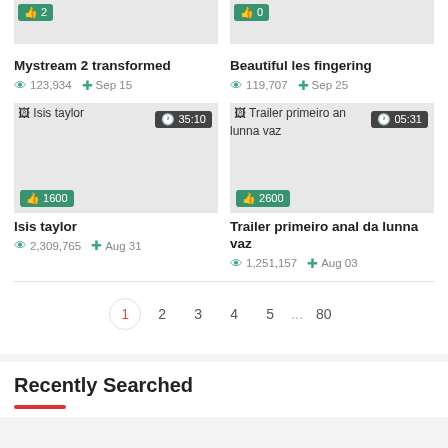[Figure (screenshot): Video thumbnail for Mystream 2 transformed with like badge showing 2]
Mystream 2 transformed
123,934   Sep 15
[Figure (screenshot): Video thumbnail for Beautiful les fingering with like badge showing 0]
Beautiful les fingering
119,707   Sep 25
[Figure (screenshot): Video thumbnail for Isis taylor, duration 35:10, likes 1600]
Isis taylor
2,309,765   Aug 31
[Figure (screenshot): Video thumbnail for Trailer primeiro anal da lunna vaz, duration 05:31, likes 2600]
Trailer primeiro anal da lunna vaz
1,251,157   Aug 03
1 2 3 4 5 ... 80
Recently Searched